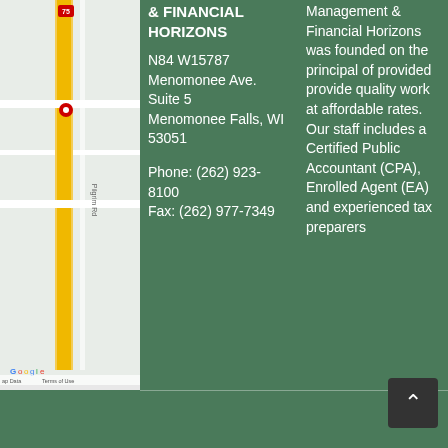[Figure (map): Google Maps screenshot showing local area with route 75, Pilgrim Rd, and surrounding streets]
& FINANCIAL HORIZONS
N84 W15787 Menomonee Ave.
Suite 5
Menomonee Falls, WI 53051
Phone: (262) 923-8100
Fax: (262) 977-7349
Management & Financial Horizons was founded on the principal of provided provide quality work at affordable rates. Our staff includes a Certified Public Accountant (CPA), Enrolled Agent (EA) and experienced tax preparers